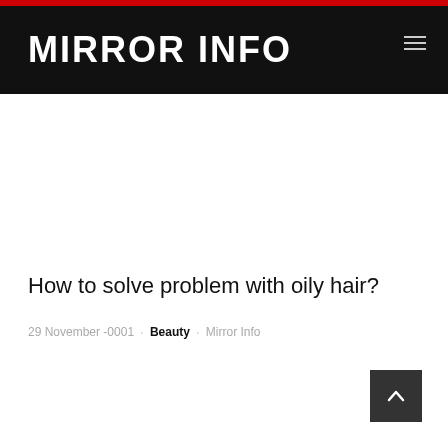MIRROR INFO
How to solve problem with oily hair?
29 November -0001  Beauty  Mirror Info